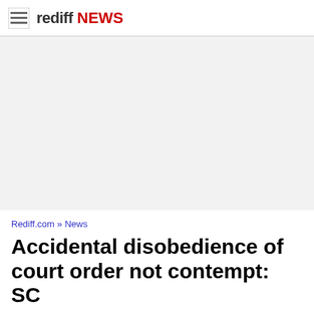rediff NEWS
[Figure (other): Advertisement / blank gray area]
Rediff.com » News
Accidental disobedience of court order not contempt: SC
Source: PTI
October 15, 2010 17:42 IST